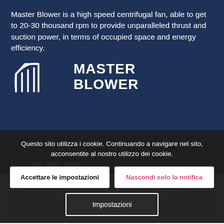Master Blower is a high speed centrifugal fan, able to get to 20-30 thousand rpm to provide unparalleled thrust and suction power, in terms of occupied space and energy efficiency.
[Figure (logo): Master Blower logo with stylized fan/blower icon in white and bold text MASTER BLOWER]
WHERE WE ARE
[Figure (map): Street map showing location of Master Blower facility]
Questo sito utilizza i cookie. Continuando a navigare nel sito, acconsentite al nostro utilizzo dei cookie.
Accettare le impostazioni
Nascondi solo la notifica
Impostazioni